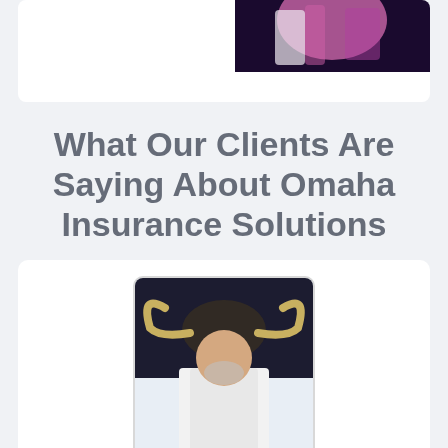[Figure (photo): Partial view of a person wearing pink/magenta outfit against dark background, top-right corner of card]
What Our Clients Are Saying About Omaha Insurance Solutions
[Figure (photo): Photo of a bald older man with a beard wearing a white shirt, standing in front of a bull painting/artwork on black background]
★★★★★ (five gold stars rating)